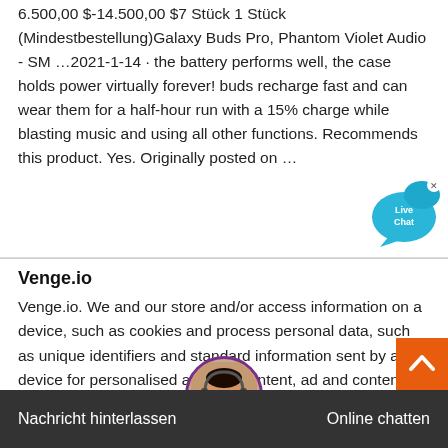6.500,00 $-14.500,00 $7 Stück 1 Stück (Mindestbestellung)Galaxy Buds Pro, Phantom Violet Audio - SM …2021-1-14 · the battery performs well, the case holds power virtually forever! buds recharge fast and can wear them for a half-hour run with a 15% charge while blasting music and using all other functions. Recommends this product. Yes. Originally posted on …
[Figure (other): Live Chat bubble icon — teal speech bubble with 'Live Chat' text and an X close button]
Venge.io
Venge.io. We and our store and/or access information on a device, such as cookies and process personal data, such as unique identifiers and standard information sent by a device for personalised ads and content, ad and content measurement, and audience insights, as well as to dev and improve products.TECNO Mobile : Official WebsiteDiscover the latest smartphone of TECNO. TECNO
[Figure (other): Orange scroll-to-top button with upward chevron arrow]
[Figure (other): Customer support agent avatar — woman wearing headset, circular photo with purple border]
Nachricht hinterlassen   Online chatten